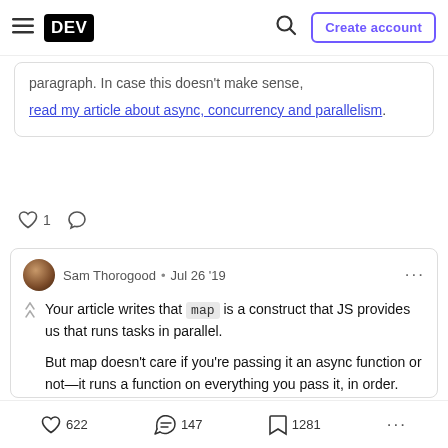DEV  [search]  Create account
paragraph. In case this doesn't make sense, read my article about async, concurrency and parallelism.
♡ 1  ○
Sam Thorogood · Jul 26 '19
Your article writes that map is a construct that JS provides us that runs tasks in parallel.

But map doesn't care if you're passing it an async function or not—it runs a function on everything you pass it, in order. Notably, even this is possible, because async functions don't
♡ 622   147   1281   ...